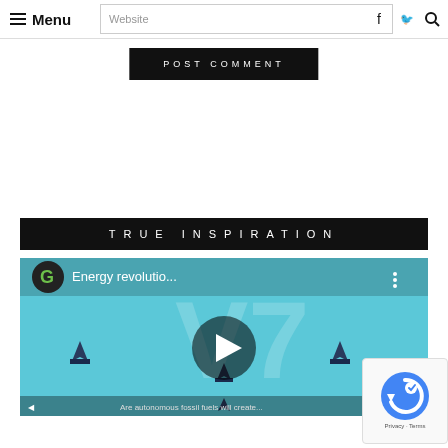Menu
POST COMMENT
TRUE INSPIRATION
[Figure (screenshot): YouTube video thumbnail showing 'Energy revolutio...' with a G logo, play button, and game-like space vehicles on a teal background]
[Figure (other): reCAPTCHA badge with Privacy - Terms]